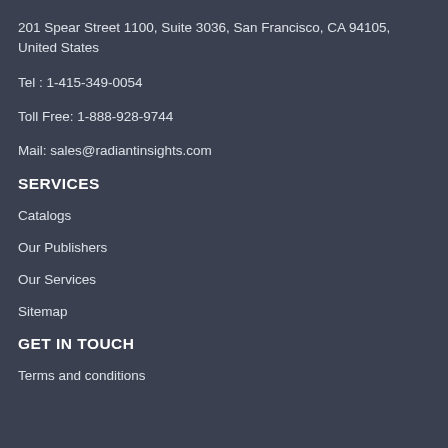201 Spear Street 1100, Suite 3036, San Francisco, CA 94105, United States
Tel : 1-415-349-0054
Toll Free: 1-888-928-9744
Mail: sales@radiantinsights.com
SERVICES
Catalogs
Our Publishers
Our Services
Sitemap
GET IN TOUCH
Terms and conditions